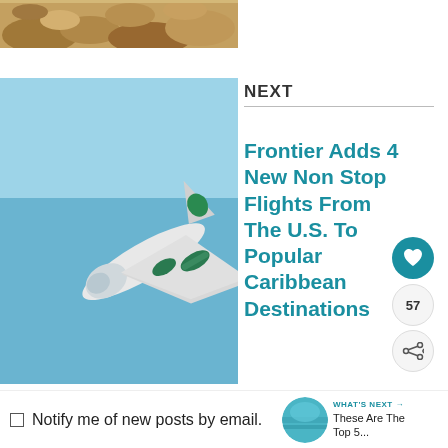[Figure (photo): Rocky desert landscape with stones and boulders, top portion of page]
[Figure (photo): Frontier Airlines aircraft photographed from below against a blue sky, showing green engine nacelles and white fuselage]
NEXT
Frontier Adds 4 New Non Stop Flights From The U.S. To Popular Caribbean Destinations
Notify me of new posts by email.
WHAT'S NEXT → These Are The Top 5...